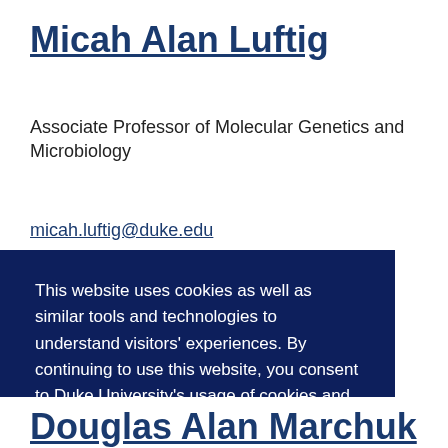Micah Alan Luftig
Associate Professor of Molecular Genetics and Microbiology
micah.luftig@duke.edu
This website uses cookies as well as similar tools and technologies to understand visitors' experiences. By continuing to use this website, you consent to Duke University's usage of cookies and similar technologies, in accordance with the Duke Privacy Statement.
I ACCEPT
Douglas Alan Marchuk